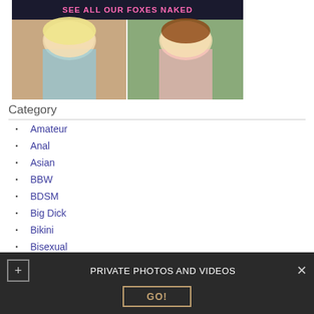[Figure (photo): Banner advertisement with text 'SEE ALL OUR FOXES NAKED' and two photos of women]
Category
Amateur
Anal
Asian
BBW
BDSM
Big Dick
Bikini
Bisexual
PRIVATE PHOTOS AND VIDEOS
GO!